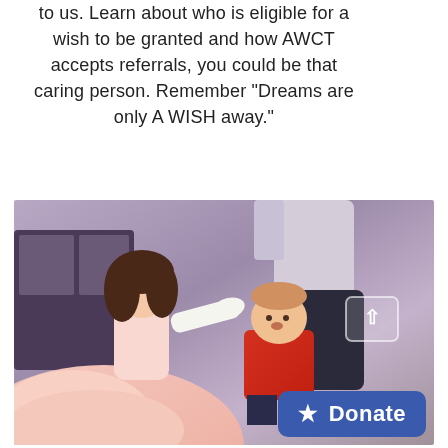to us. Learn about who is eligible for a wish to be granted and how AWCT accepts referrals, you could be that caring person. Remember "Dreams are only A WISH away."
[Figure (photo): A princess character (dressed in a pink gown with white gloves) leans in to kiss a young boy in a red Mario shirt who is seated in a wheelchair. The scene appears to be at a Disney-style event with purple ambient lighting in the background.]